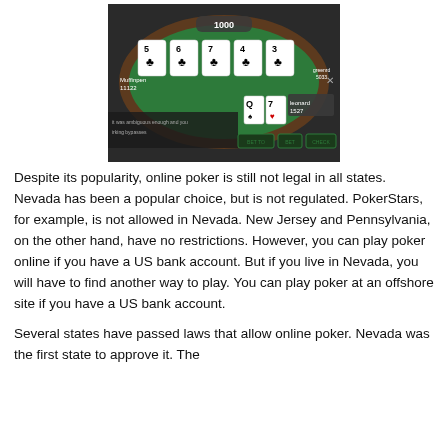[Figure (screenshot): Screenshot of an online poker game (PokerStars interface) showing a green oval table with five community cards: 5♣, 6♣, 7♣, 4♣, 3♣, a pot of 1000, and player cards Q♠ 7♥ for user 'leonard' with 1527 chips. Interface shows BET TO, BET, CHECK buttons and chat overlay.]
Despite its popularity, online poker is still not legal in all states. Nevada has been a popular choice, but is not regulated. PokerStars, for example, is not allowed in Nevada. New Jersey and Pennsylvania, on the other hand, have no restrictions. However, you can play poker online if you have a US bank account. But if you live in Nevada, you will have to find another way to play. You can play poker at an offshore site if you have a US bank account.
Several states have passed laws that allow online poker. Nevada was the first state to approve it. The